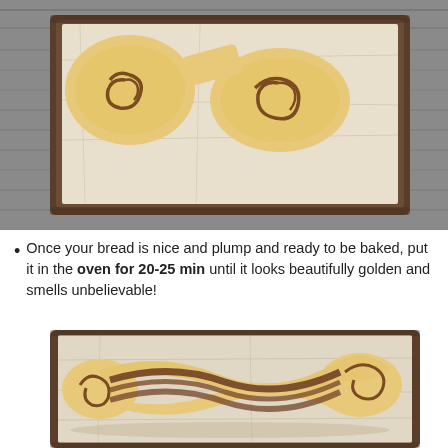[Figure (photo): Overhead photo of unbaked cinnamon swirl bread rolls placed on parchment paper on a dark baking tray, set on a gray wooden surface.]
Once your bread is nice and plump and ready to be baked, put it in the oven for 20-25 min until it looks beautifully golden and smells unbelievable!
[Figure (photo): Photo of a twisted/braided chocolate-filled bread loaf (babka-style) on parchment paper in a dark baking tray, uncooked, showing the spiral pattern of chocolate filling throughout the dough.]